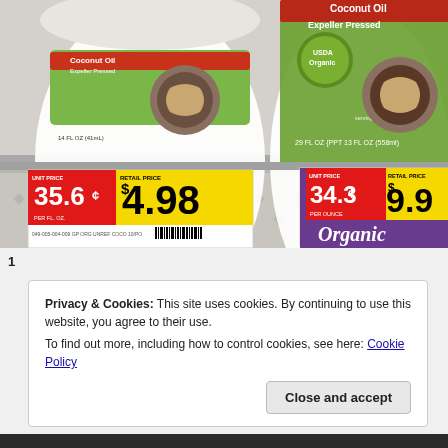[Figure (photo): Grocery store shelf showing two containers of organic coconut oil (Expeller Pressed, USDA Organic). Left price tag shows unit price 35.6¢ per fl oz and retail price $4.98. Right price tag shows unit price 34.3¢ per ounce and retail price $9.90 (partially visible). Purple 'Organic' section divider visible at bottom right.]
Privacy & Cookies: This site uses cookies. By continuing to use this website, you agree to their use.
To find out more, including how to control cookies, see here: Cookie Policy
Close and accept